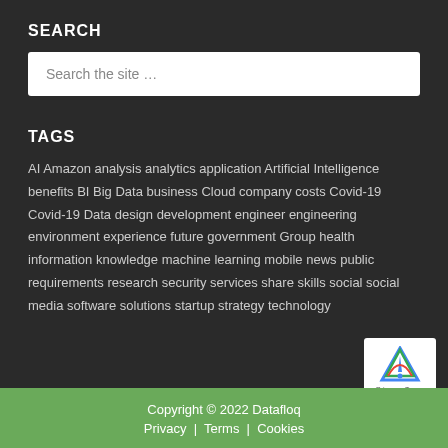SEARCH
Search the site ...
TAGS
AI Amazon analysis analytics application Artificial Intelligence benefits BI Big Data business Cloud company costs Covid-19 Covid-19 Data design development engineer engineering environment experience future government Group health information knowledge machine learning mobile news public requirements research security services share skills social social media software solutions startup strategy technology
Copyright © 2022 Datafloq
Privacy | Terms | Cookies